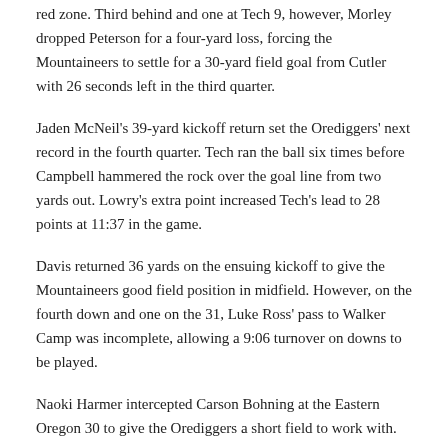red zone. Third behind and one at Tech 9, however, Morley dropped Peterson for a four-yard loss, forcing the Mountaineers to settle for a 30-yard field goal from Cutler with 26 seconds left in the third quarter.
Jaden McNeil's 39-yard kickoff return set the Orediggers' next record in the fourth quarter. Tech ran the ball six times before Campbell hammered the rock over the goal line from two yards out. Lowry's extra point increased Tech's lead to 28 points at 11:37 in the game.
Davis returned 36 yards on the ensuing kickoff to give the Mountaineers good field position in midfield. However, on the fourth down and one on the 31, Luke Ross' pass to Walker Camp was incomplete, allowing a 9:06 turnover on downs to be played.
Naoki Harmer intercepted Carson Bohning at the Eastern Oregon 30 to give the Orediggers a short field to work with.
After a 20-yard pass from Campbell to Hoffman, Counts finished the drive with a 10-yard run. Lowry's point after the try was good to give Tech a 38-3